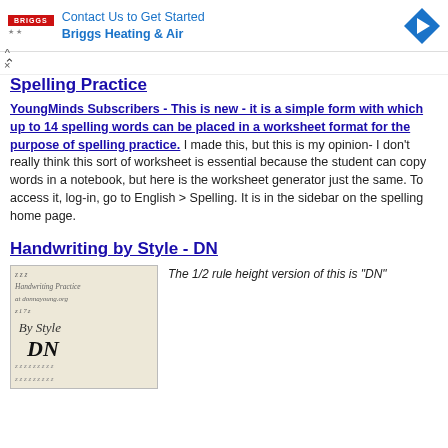[Figure (other): Advertisement banner for Briggs Heating & Air with logo, text 'Contact Us to Get Started' and 'Briggs Heating & Air', and a blue diamond arrow icon]
Spelling Practice
YoungMinds Subscribers - This is new - it is a simple form with which up to 14 spelling words can be placed in a worksheet format for the purpose of spelling practice. I made this, but this is my opinion- I don't really think this sort of worksheet is essential because the student can copy words in a notebook, but here is the worksheet generator just the same. To access it, log-in, go to English > Spelling. It is in the sidebar on the spelling home page.
Handwriting by Style - DN
[Figure (illustration): Handwriting practice worksheet thumbnail showing cursive text 'Handwriting Practice at donnayoung.org By Style DN' with ruled lines and letter practice rows]
The 1/2 rule height version of this is "DN"